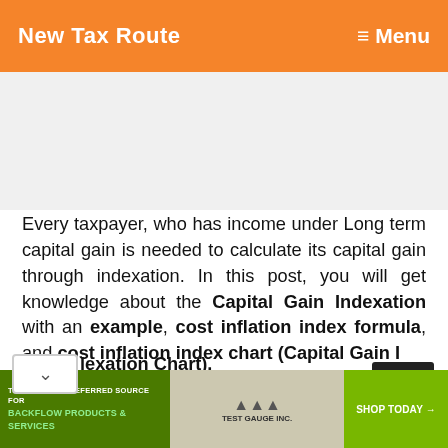New Tax Route  ≡ Menu
Every taxpayer, who has income under Long term capital gain is needed to calculate its capital gain through indexation. In this post, you will get knowledge about the Capital Gain Indexation with an example, cost inflation index formula, and cost inflation index chart (Capital Gain Indexation Chart).